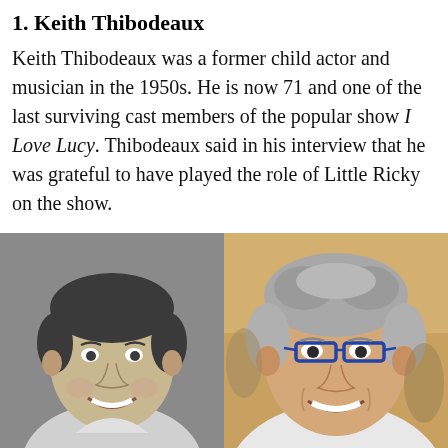1. Keith Thibodeaux
Keith Thibodeaux was a former child actor and musician in the 1950s. He is now 71 and one of the last surviving cast members of the popular show I Love Lucy. Thibodeaux said in his interview that he was grateful to have played the role of Little Ricky on the show.
[Figure (photo): Two side-by-side photos of Keith Thibodeaux: left is a black-and-white childhood photo showing a smiling young boy; right is a color photo of the same person as an older adult man with grey hair and blue-framed glasses, smiling.]